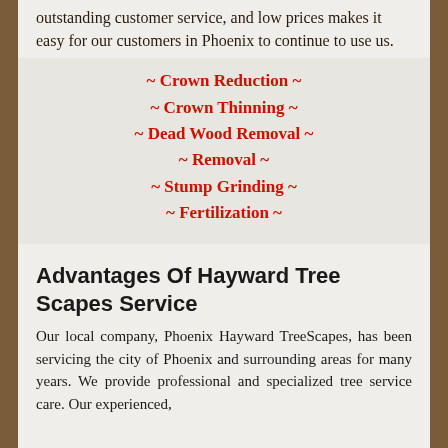outstanding customer service, and low prices makes it easy for our customers in Phoenix to continue to use us.
~ Crown Reduction ~
~ Crown Thinning ~
~ Dead Wood Removal ~
~ Removal ~
~ Stump Grinding ~
~ Fertilization ~
Advantages Of Hayward Tree Scapes Service
Our local company, Phoenix Hayward TreeScapes, has been servicing the city of Phoenix and surrounding areas for many years. We provide professional and specialized tree service care. Our experienced,